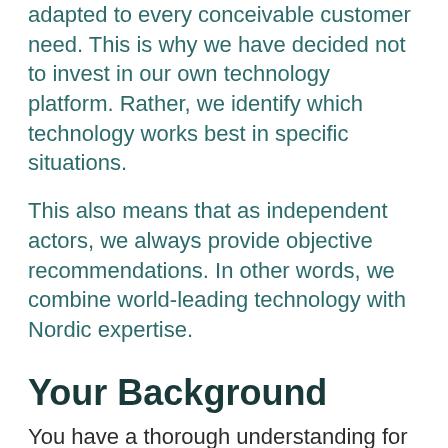adapted to every conceivable customer need. This is why we have decided not to invest in our own technology platform. Rather, we identify which technology works best in specific situations.
This also means that as independent actors, we always provide objective recommendations. In other words, we combine world-leading technology with Nordic expertise.
Your Background
You have a thorough understanding for supply chain management processes and